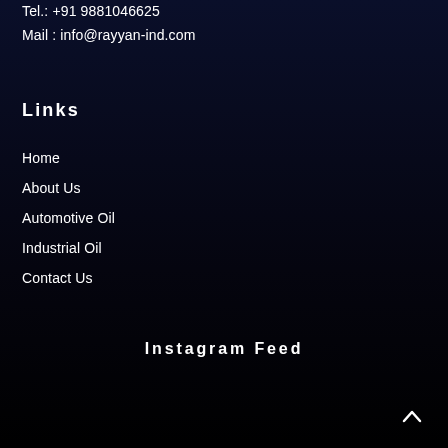Tel.: +91 9881046625
Mail : info@rayyan-ind.com
Links
Home
About Us
Automotive Oil
Industrial Oil
Contact Us
Instagram Feed